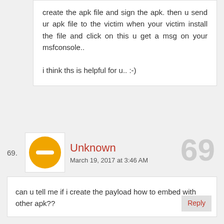create the apk file and sign the apk. then u send ur apk file to the victim when your victim install the file and click on this u get a msg on your msfconsole.. i think ths is helpful for u.. :-)
69.
Unknown
March 19, 2017 at 3:46 AM
can u tell me if i create the payload how to embed with other apk??